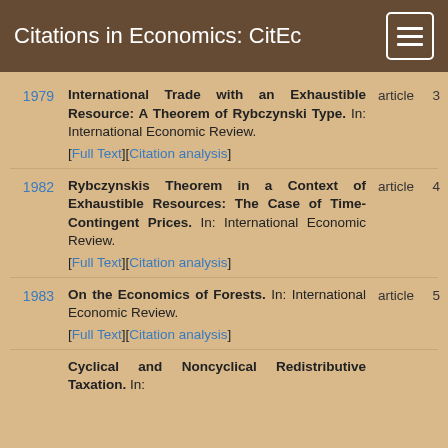Citations in Economics: CitEc
1979 — International Trade with an Exhaustible Resource: A Theorem of Rybczynski Type. In: International Economic Review. [Full Text][Citation analysis] article 3
1982 — Rybczynskis Theorem in a Context of Exhaustible Resources: The Case of Time-Contingent Prices. In: International Economic Review. [Full Text][Citation analysis] article 4
1983 — On the Economics of Forests. In: International Economic Review. [Full Text][Citation analysis] article 5
Cyclical and Noncyclical Redistributive Taxation. In: